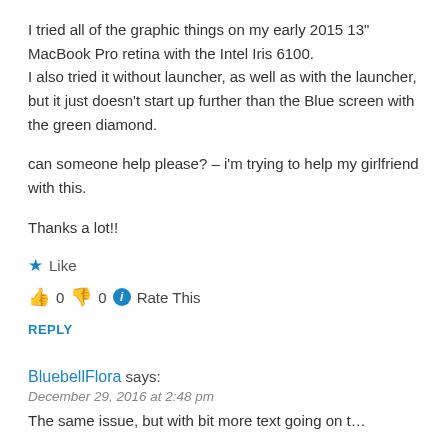I tried all of the graphic things on my early 2015 13" MacBook Pro retina with the Intel Iris 6100.
I also tried it without launcher, as well as with the launcher, but it just doesn't start up further than the Blue screen with the green diamond.
can someone help please? – i'm trying to help my girlfriend with this.
Thanks a lot!!
★ Like
👍 0 👎 0 ℹ Rate This
REPLY
BluebellFlora says:
December 29, 2016 at 2:48 pm
The sentence is cut off with bit more text at bottom